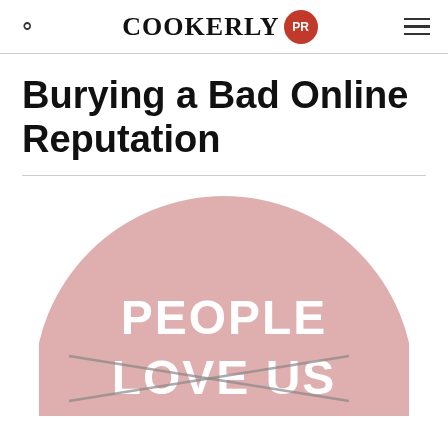COOKERLY PR
Burying a Bad Online Reputation
[Figure (illustration): A pink circular badge/sticker with white bold text reading 'PEOPLE LOVE US' with strikethrough lines crossing out 'LOVE' and italic text 'hate' written below in gray, followed by 'ON' at the bottom, referencing Yelp branding style.]